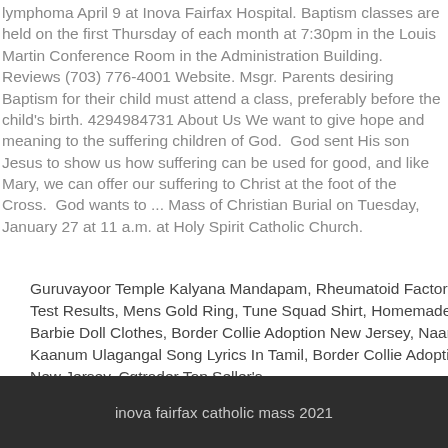lymphoma April 9 at Inova Fairfax Hospital. Baptism classes are held on the first Thursday of each month at 7:30pm in the Louis Martin Conference Room in the Administration Building. Reviews (703) 776-4001 Website. Msgr. Parents desiring Baptism for their child must attend a class, preferably before the child's birth. 4294984731 About Us We want to give hope and meaning to the suffering children of God.  God sent His son Jesus to show us how suffering can be used for good, and like Mary, we can offer our suffering to Christ at the foot of the Cross.  God wants to ... Mass of Christian Burial on Tuesday, January 27 at 11 a.m. at Holy Spirit Catholic Church.
Guruvayoor Temple Kalyana Mandapam, Rheumatoid Factor Test Results, Mens Gold Ring, Tune Squad Shirt, Homemade Barbie Doll Clothes, Border Collie Adoption New Jersey, Naan Kaanum Ulagangal Song Lyrics In Tamil, Border Collie Adoption New Jersey, Cgtrader Top Seller's,
inova fairfax catholic mass 2021